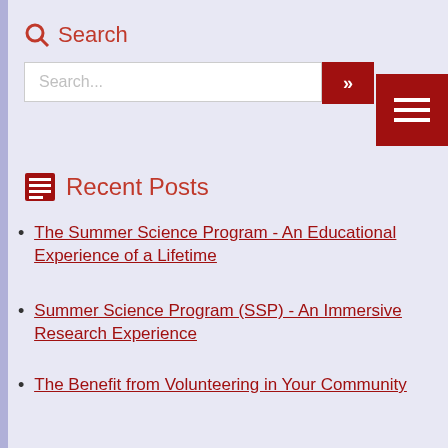Search
Search...
Recent Posts
The Summer Science Program - An Educational Experience of a Lifetime
Summer Science Program (SSP) - An Immersive Research Experience
The Benefit from Volunteering in Your Community
Archives